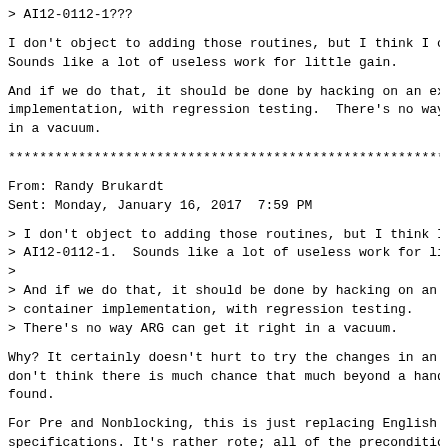> AI12-0112-1???
I don't object to adding those routines, but I think I ob
Sounds like a lot of useless work for little gain.
And if we do that, it should be done by hacking on an ex:
implementation, with regression testing.  There's no way
in a vacuum.
************************************************************
From: Randy Brukardt
Sent: Monday, January 16, 2017  7:59 PM
> I don't object to adding those routines, but I think I
> AI12-0112-1.  Sounds like a lot of useless work for li
>
> And if we do that, it should be done by hacking on an e
> container implementation, with regression testing.
> There's no way ARG can get it right in a vacuum.
Why? It certainly doesn't hurt to try the changes in an :
don't think there is much chance that much beyond a handi
found.
For Pre and Nonblocking, this is just replacing English r
specifications. It's rather rote; all of the precondition
"(if Some_Predicate (Container) then raise Some_Exception
"and then". Any cut-and-errors would be clearly obvious b
rules). Besides, we're planning to use Nonblocking in the
(it's better if the blame is shared among the community)